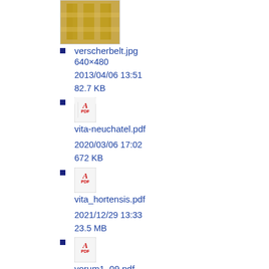verscherbelt.jpg
640×480
2013/04/06 13:51
82.7 KB
vita-neuchatel.pdf
2020/03/06 17:02
672 KB
vita_hortensis.pdf
2021/12/29 13:33
23.5 MB
vorum1_09.pdf